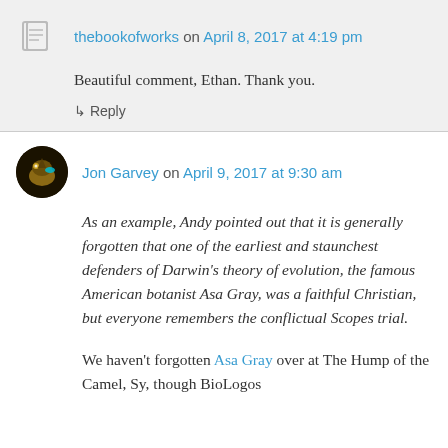thebookofworks on April 8, 2017 at 4:19 pm
Beautiful comment, Ethan. Thank you.
↳ Reply
Jon Garvey on April 9, 2017 at 9:30 am
As an example, Andy pointed out that it is generally forgotten that one of the earliest and staunchest defenders of Darwin's theory of evolution, the famous American botanist Asa Gray, was a faithful Christian, but everyone remembers the conflictual Scopes trial.
We haven't forgotten Asa Gray over at The Hump of the Camel, Sy, though BioLogos